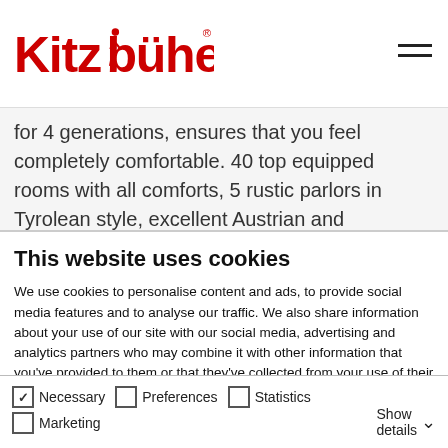Kitzbühel
for 4 generations, ensures that you feel completely comfortable. 40 top equipped rooms with all comforts, 5 rustic parlors in Tyrolean style, excellent Austrian and international cuisine, stylish bar and a small but fine wellness area leave nothing to be
This website uses cookies
We use cookies to personalise content and ads, to provide social media features and to analyse our traffic. We also share information about your use of our site with our social media, advertising and analytics partners who may combine it with other information that you've provided to them or that they've collected from your use of their services.
Allow all cookies
Allow selection
Use necessary cookies only
Necessary  Preferences  Statistics  Marketing  Show details